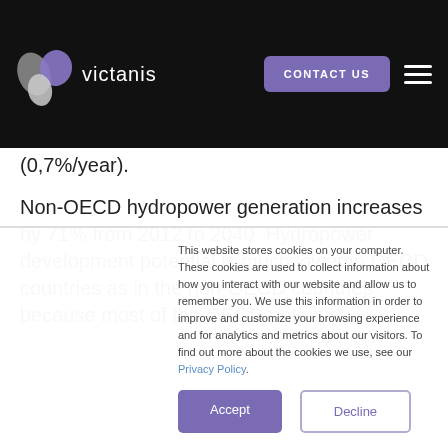victanis — CONTACT US navigation
(0,7%/year).
Non-OECD hydropower generation increases by 71% from 2012 to 2040. Hydropower development potential is much lower in OECD countries as in the non-OECD countries because most of the OECD potential
This website stores cookies on your computer. These cookies are used to collect information about how you interact with our website and allow us to remember you. We use this information in order to improve and customize your browsing experience and for analytics and metrics about our visitors. To find out more about the cookies we use, see our Privacy Policy.